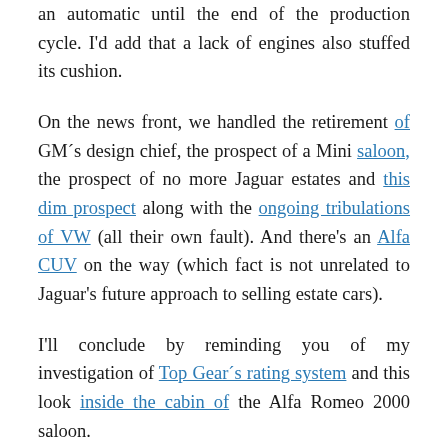an automatic until the end of the production cycle. I'd add that a lack of engines also stuffed its cushion.
On the news front, we handled the retirement of GM´s design chief, the prospect of a Mini saloon, the prospect of no more Jaguar estates and this dim prospect along with the ongoing tribulations of VW (all their own fault). And there's an Alfa CUV on the way (which fact is not unrelated to Jaguar's future approach to selling estate cars).
I'll conclude by reminding you of my investigation of Top Gear´s rating system and this look inside the cabin of the Alfa Romeo 2000 saloon.
Thanks for reading and contributing. On behalf of